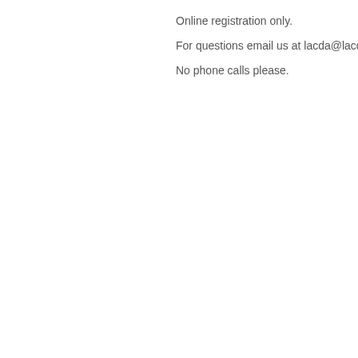Online registration only.
For questions email us at lacda@lacda.
No phone calls please.